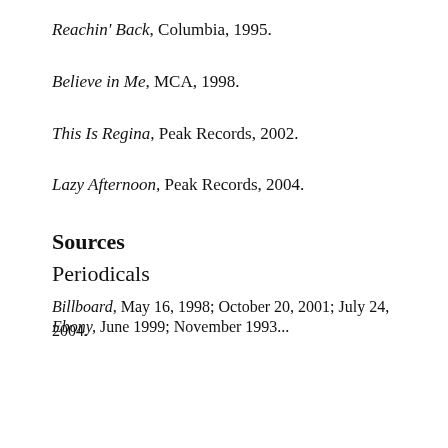Reachin' Back, Columbia, 1995.
Believe in Me, MCA, 1998.
This Is Regina, Peak Records, 2002.
Lazy Afternoon, Peak Records, 2004.
Sources
Periodicals
Billboard, May 16, 1998; October 20, 2001; July 24, 2004.
Ebony, June 1999; November 1993...